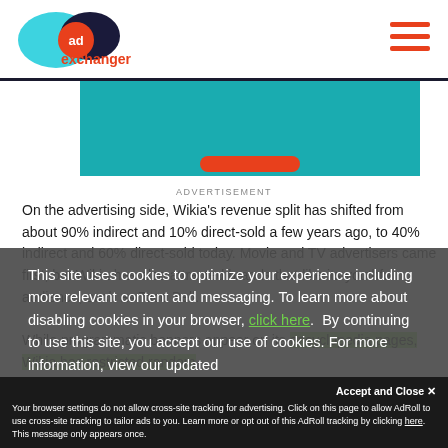AdExchanger logo and navigation header
[Figure (screenshot): AdExchanger website screenshot with article image in teal/green color]
ADVERTISEMENT
On the advertising side, Wikia's revenue split has shifted from about 90% indirect and 10% direct-sold a few years ago, to 40% indirect and 60% direct-sold today. Movie and TV advertisers came first, but Wikia has also attracted brands that like its youthful audience, such as Taco Bell.

While programmatic banners appear on its encyclopedia pages, Wikia has restricted random
This site uses cookies to optimize your experience including more relevant content and messaging. To learn more about disabling cookies in your browser, click here.  By continuing to use this site, you accept our use of cookies. For more information, view our updated Privacy Policy.
Your browser settings do not allow cross-site tracking for advertising. Click on this page to allow AdRoll to use cross-site tracking to tailor ads to you. Learn more or opt out of this AdRoll tracking by clicking here. This message only appears once.